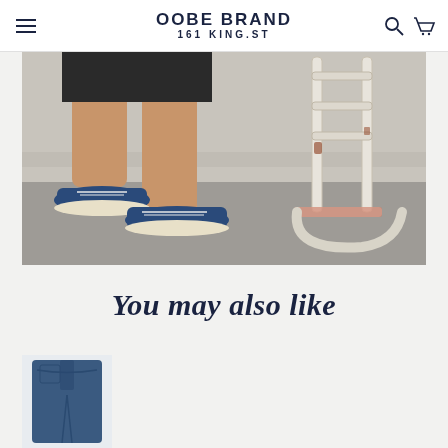OOBE BRAND 161 KING.ST
[Figure (photo): Close-up photo of a person's legs wearing shorts and navy blue canvas sneakers, stepping near a vintage white metal chair on a concrete floor]
You may also like
[Figure (photo): Product thumbnail showing denim jeans]